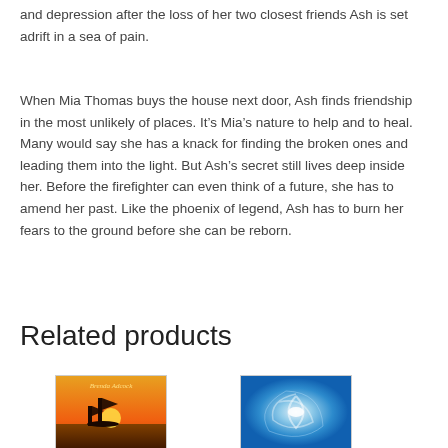and depression after the loss of her two closest friends Ash is set adrift in a sea of pain.
When Mia Thomas buys the house next door, Ash finds friendship in the most unlikely of places. It’s Mia’s nature to help and to heal. Many would say she has a knack for finding the broken ones and leading them into the light. But Ash’s secret still lives deep inside her. Before the firefighter can even think of a future, she has to amend her past. Like the phoenix of legend, Ash has to burn her fears to the ground before she can be reborn.
Related products
[Figure (photo): Book cover with sailing ship against orange sunset sky, with cursive text 'Brenda Adcock']
[Figure (photo): Book cover with blue swirling vortex or spiral pattern on water]